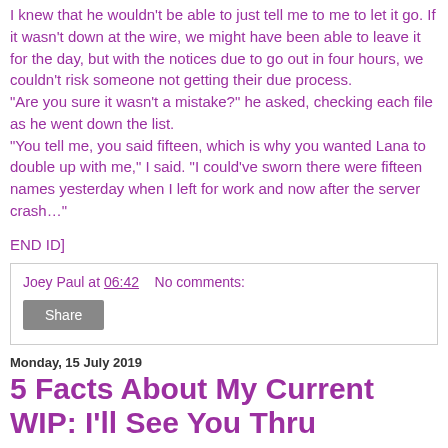I knew that he wouldn't be able to just tell me to me to let it go. If it wasn't down at the wire, we might have been able to leave it for the day, but with the notices due to go out in four hours, we couldn't risk someone not getting their due process.
"Are you sure it wasn't a mistake?" he asked, checking each file as he went down the list.
"You tell me, you said fifteen, which is why you wanted Lana to double up with me," I said. "I could've sworn there were fifteen names yesterday when I left for work and now after the server crash…"
END ID]
Joey Paul at 06:42    No comments:
Share
Monday, 15 July 2019
5 Facts About My Current WIP: I'll See You Thru